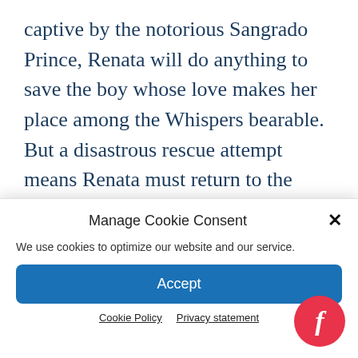captive by the notorious Sangrado Prince, Renata will do anything to save the boy whose love makes her place among the Whispers bearable. But a disastrous rescue attempt means Renata must return to the palace under cover and complete Dez's top secret mission. Can Renata convince her former captors that she remains loyal, even as she burns for
Manage Cookie Consent
We use cookies to optimize our website and our service.
Accept
Cookie Policy   Privacy statement